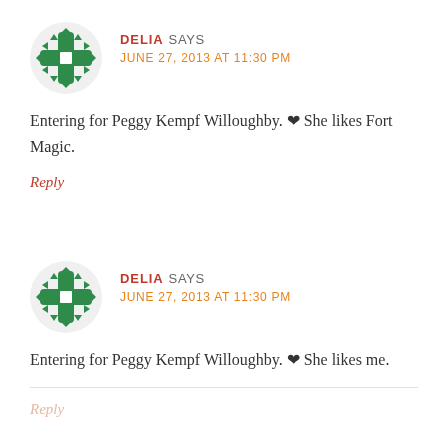[Figure (illustration): Green decorative avatar icon with cross/snowflake pattern]
DELIA SAYS
JUNE 27, 2013 AT 11:30 PM
Entering for Peggy Kempf Willoughby. ❤ She likes Fort Magic.
Reply
[Figure (illustration): Green decorative avatar icon with cross/snowflake pattern]
DELIA SAYS
JUNE 27, 2013 AT 11:30 PM
Entering for Peggy Kempf Willoughby. ❤ She likes me.
Reply